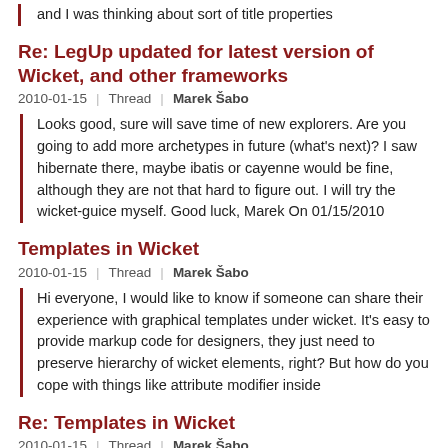and I was thinking about sort of title properties
Re: LegUp updated for latest version of Wicket, and other frameworks
2010-01-15 | Thread | Marek Šabo
Looks good, sure will save time of new explorers. Are you going to add more archetypes in future (what's next)? I saw hibernate there, maybe ibatis or cayenne would be fine, although they are not that hard to figure out. I will try the wicket-guice myself. Good luck, Marek On 01/15/2010
Templates in Wicket
2010-01-15 | Thread | Marek Šabo
Hi everyone, I would like to know if someone can share their experience with graphical templates under wicket. It's easy to provide markup code for designers, they just need to preserve hierarchy of wicket elements, right? But how do you cope with things like attribute modifier inside
Re: Templates in Wicket
2010-01-15 | Thread | Marek Šabo
jetty to get the app up and running with markup reloading, then they go in with textmate or coda and tweak the markup.